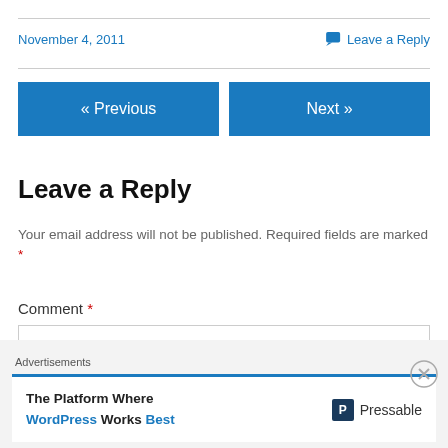November 4, 2011
Leave a Reply
« Previous
Next »
Leave a Reply
Your email address will not be published. Required fields are marked *
Comment *
Advertisements
The Platform Where WordPress Works Best   Pressable